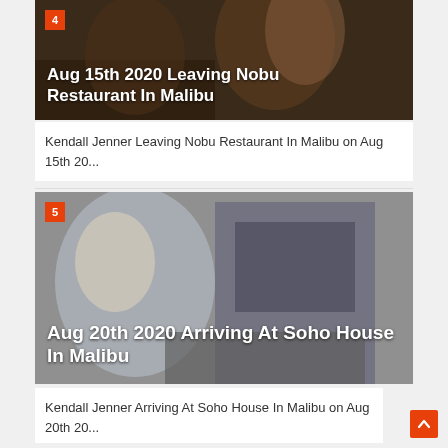[Figure (photo): Photo of two women, dark background, paparazzi style. Badge number 4. Overlay text: Aug 15th 2020 Leaving Nobu Restaurant In Malibu]
Kendall Jenner Leaving Nobu Restaurant In Malibu on Aug 15th 20...
[Figure (photo): Photo of a woman with blonde hair near a large SUV vehicle, outdoor setting. Badge number 5. Overlay text: Aug 20th 2020 Arriving At Soho House In Malibu]
Kendall Jenner Arriving At Soho House In Malibu on Aug 20th 20...